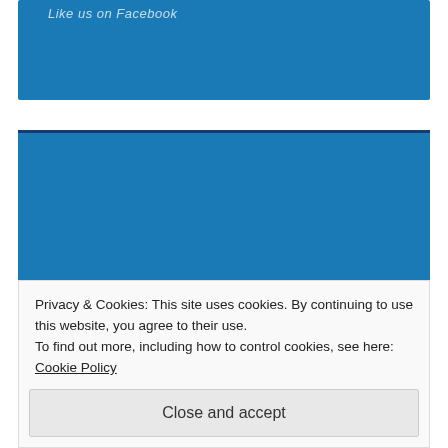Like us on Facebook
[Figure (illustration): Badge with text: Proud member of THE INTERNET on a blue background]
Privacy & Cookies: This site uses cookies. By continuing to use this website, you agree to their use.
To find out more, including how to control cookies, see here:
Cookie Policy
Close and accept